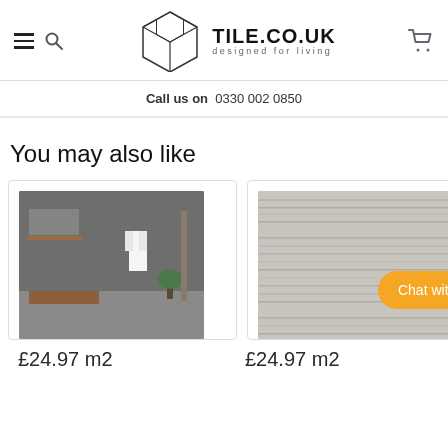TILE.CO.UK designed for living
Call us on 0330 002 0850
You may also like
[Figure (photo): Bathroom interior with grey concrete walls, wooden vanity unit with round white basins, white bathrobe hanging on wall, and plant]
£24.97 m2
[Figure (photo): Close-up of grey textured tile surface with horizontal striations]
£24.97 m2